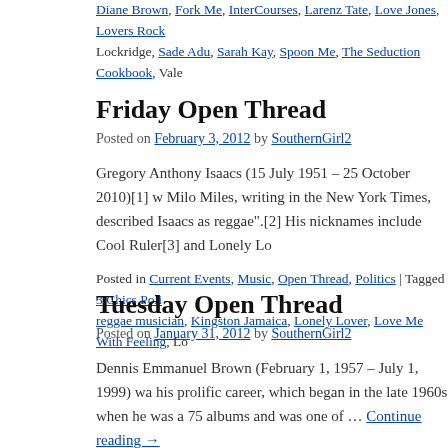Diane Brown, Fork Me, InterCourses, Larenz Tate, Love Jones, Lovers Rock, Lockridge, Sade Adu, Sarah Kay, Spoon Me, The Seduction Cookbook, Vale...
Friday Open Thread
Posted on February 3, 2012 by SouthernGirl2
Gregory Anthony Isaacs (15 July 1951 – 25 October 2010)[1] w... Milo Miles, writing in the New York Times, described Isaacs as reggae".[2] His nicknames include Cool Ruler[3] and Lonely Lo...
Posted in Current Events, Music, Open Thread, Politics | Tagged 3 Chics Poli... reggae musician, Kingston Jamaica, Lonely Lover, Love Me With Feeling, Lo...
Tuesday Open Thread
Posted on January 31, 2012 by SouthernGirl2
Dennis Emmanuel Brown (February 1, 1957 – July 1, 1999) wa... his prolific career, which began in the late 1960s when he was a 75 albums and was one of … Continue reading →